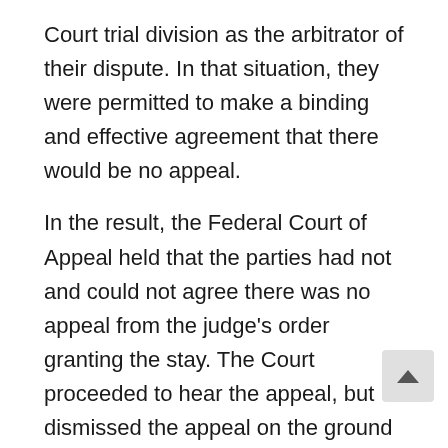Court trial division as the arbitrator of their dispute. In that situation, they were permitted to make a binding and effective agreement that there would be no appeal.
In the result, the Federal Court of Appeal held that the parties had not and could not agree there was no appeal from the judge's order granting the stay. The Court proceeded to hear the appeal, but dismissed the appeal on the ground that the Federal Court had properly held that the dispute must be determined by arbitration.
Discussion
This decision raises the very interesting public policy issue of where the limits of agreement are in respect court procedures generally and specifically in relation arbitration proceedings.